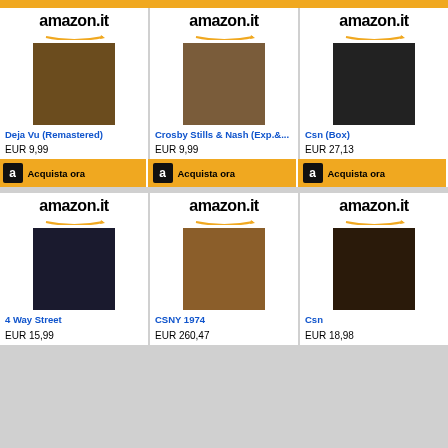[Figure (screenshot): Amazon.it product listing grid showing 6 music albums by Crosby, Stills, Nash & Young]
Deja Vu (Remastered)
EUR 9,99
Crosby Stills & Nash (Exp.&...
EUR 9,99
Csn (Box)
EUR 27,13
4 Way Street
EUR 15,99
CSNY 1974
EUR 260,47
Csn
EUR 18,98